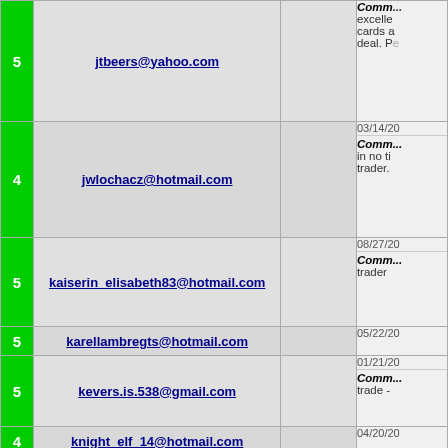| Score | Email | Reference | Info |
| --- | --- | --- | --- |
| 5 | jtbeers@yahoo.com |  | Comm... excellent cards a deal. Pe |
| 4 | jwlochacz@hotmail.com |  | 03/14/20
Comm... in no ti trader. |
| 5 | kaiserin_elisabeth83@hotmail.com |  | 08/27/20
Comm... trader |
| 5 | karellambregts@hotmail.com |  | 05/22/20 |
| 5 | kevers.is.538@gmail.com |  | 01/21/20
Comm... trade - |
| 4 | knight_elf_14@hotmail.com |  | 04/20/20 |
| 5 | kristofdelen_32@hotmail.com | Necropred (0) | 06/26/20 |
| 5 | lplaat@hotmail.com | lplaat (119) | 01/11/20
Comm... commu A++++ - |
| 5 | luukswarts@hotmail.com |  | 06/16/20
Comm... friendly |